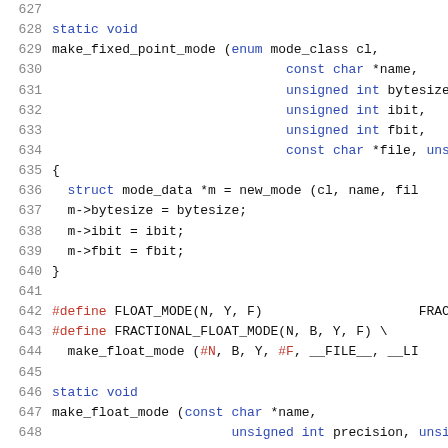Source code listing lines 627-648, C language, function make_fixed_point_mode and make_float_mode definitions with preprocessor macros FLOAT_MODE and FRACTIONAL_FLOAT_MODE